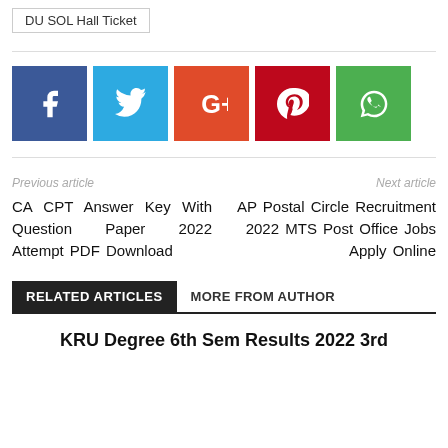DU SOL Hall Ticket
[Figure (other): Row of social media share buttons: Facebook (blue), Twitter (light blue), Google+ (orange-red), Pinterest (red), WhatsApp (green)]
Previous article
Next article
CA CPT Answer Key With Question Paper 2022 Attempt PDF Download
AP Postal Circle Recruitment 2022 MTS Post Office Jobs Apply Online
RELATED ARTICLES    MORE FROM AUTHOR
KRU Degree 6th Sem Results 2022 3rd